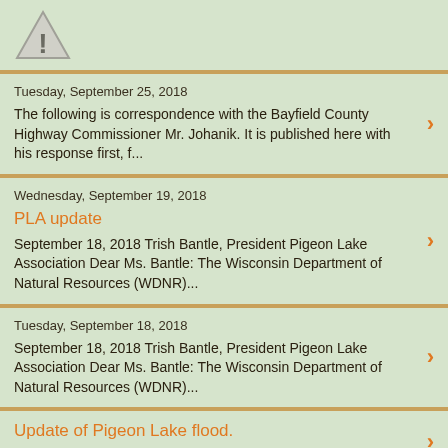[Figure (illustration): Warning triangle icon with exclamation mark]
Tuesday, September 25, 2018
The following is correspondence with the Bayfield County Highway Commissioner Mr. Johanik. It is published here with his response first, f...
Wednesday, September 19, 2018
PLA update
September 18, 2018 Trish Bantle, President Pigeon Lake Association Dear Ms. Bantle: The Wisconsin Department of Natural Resources (WDNR)...
Tuesday, September 18, 2018
September 18, 2018 Trish Bantle, President Pigeon Lake Association Dear Ms. Bantle: The Wisconsin Department of Natural Resources (WDNR)...
Update of Pigeon Lake flood.
United States Department of Agriculture Forest Service...